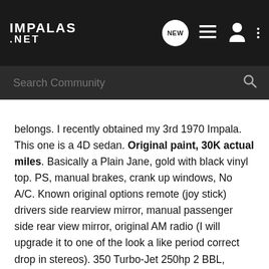IMPALAS .NET
Search Community
belongs. I recently obtained my 3rd 1970 Impala. This one is a 4D sedan. Original paint, 30K actual miles. Basically a Plain Jane, gold with black vinyl top. PS, manual brakes, crank up windows, No A/C. Known original options remote (joy stick) drivers side rearview mirror, manual passenger side rear view mirror, original AM radio (I will upgrade it to one of the look a like period correct drop in stereos). 350 Turbo-Jet 250hp 2 BBL, TH350 Trans, 10 bolt rear (I think 256:1 ratio). I am kind of hoping to slightly update it to a car that was NEVER built, a 1970 Impala SS. 1970 is known for the better variable ratio steering boxes. I want to upgrade the suspension like I did to my first 1970. I want to really enjoy the better ride and handling quality. I am basically hoping to duplicate the factory F41 / B07 handling / Police package (maybe better). This car came with the factory rally wheels (I think they are 15X7, I think the offset